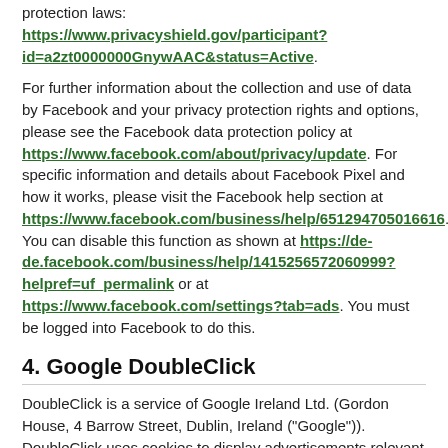protection laws: https://www.privacyshield.gov/participant?id=a2zt0000000GnywAAC&status=Active.
For further information about the collection and use of data by Facebook and your privacy protection rights and options, please see the Facebook data protection policy at https://www.facebook.com/about/privacy/update. For specific information and details about Facebook Pixel and how it works, please visit the Facebook help section at https://www.facebook.com/business/help/651294705016616. You can disable this function as shown at https://de-de.facebook.com/business/help/1415256572060999?helpref=uf_permalink or at https://www.facebook.com/settings?tab=ads. You must be logged into Facebook to do this.
4. Google DoubleClick
DoubleClick is a service of Google Ireland Ltd. (Gordon House, 4 Barrow Street, Dublin, Ireland ("Google")). DoubleClick uses cookies to display advertisements relevant to you. Your browser is assigned an pseudonymised identification number (ID) to check which ads have been displayed in your browser and which ads have been interacted with. These cookies do not contain any personal information. The use of DoubleClick cookies only allows Google and its partner websites to